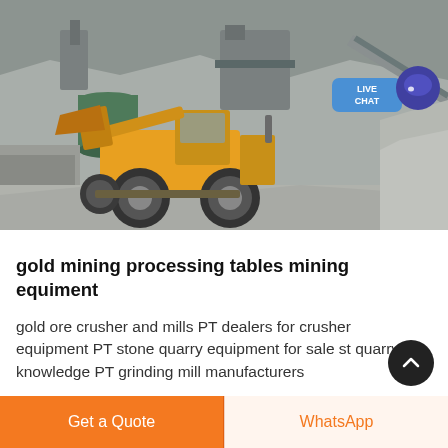[Figure (photo): Quarry mining site with a large yellow wheel loader / front-end loader operating among rock piles and industrial crushing equipment in a dusty grey quarry environment. A 'LIVE CHAT' badge is visible in the upper right of the image.]
gold mining processing tables mining equiment
gold ore crusher and mills PT dealers for crusher equipment PT stone quarry equipment for sale st quarry knowledge PT grinding mill manufacturers